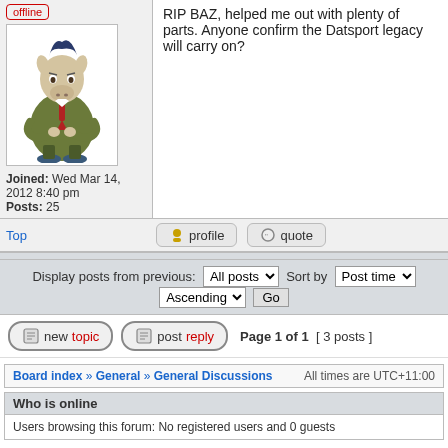RIP BAZ, helped me out with plenty of parts. Anyone confirm the Datsport legacy will carry on?
[Figure (illustration): Forum avatar: cartoon horse/donkey character in a green suit with arms crossed]
Joined: Wed Mar 14, 2012 8:40 pm
Posts: 25
Top | profile | quote
Display posts from previous: All posts  Sort by Post time  Ascending  Go
new topic  post reply  Page 1 of 1  [ 3 posts ]
Board index » General » General Discussions  All times are UTC+11:00
Who is online
Users browsing this forum: No registered users and 0 guests
You cannot post new topics in this forum
You cannot reply to topics in this forum